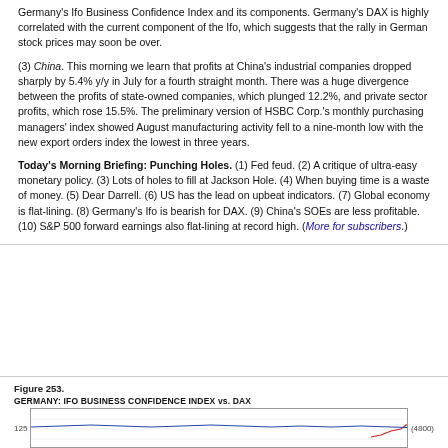Germany's Ifo Business Confidence Index and its components. Germany's DAX is highly correlated with the current component of the Ifo, which suggests that the rally in German stock prices may soon be over.
(3) China. This morning we learn that profits at China's industrial companies dropped sharply by 5.4% y/y in July for a fourth straight month. There was a huge divergence between the profits of state-owned companies, which plunged 12.2%, and private sector profits, which rose 15.5%. The preliminary version of HSBC Corp.'s monthly purchasing managers' index showed August manufacturing activity fell to a nine-month low with the new export orders index the lowest in three years.
Today's Morning Briefing: Punching Holes. (1) Fed feud. (2) A critique of ultra-easy monetary policy. (3) Lots of holes to fill at Jackson Hole. (4) When buying time is a waste of money. (5) Dear Darrell. (6) US has the lead on upbeat indicators. (7) Global economy is flat-lining. (8) Germany's Ifo is bearish for DAX. (9) China's SOEs are less profitable. (10) S&P 500 forward earnings also flat-lining at record high. (More for subscribers.)
Figure 253.
[Figure (continuous-plot): Chart showing Germany's Ifo Business Confidence Index versus DAX, partial view at bottom of page]